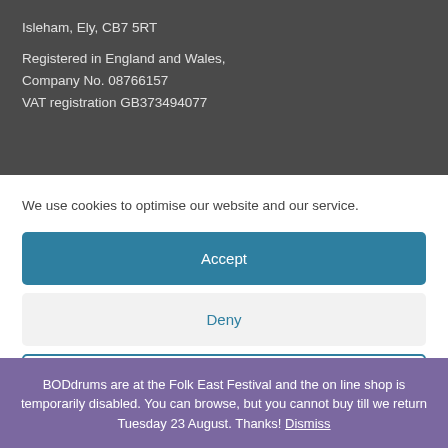Isleham, Ely, CB7 5RT
Registered in England and Wales,
Company No. 08766157
VAT registration GB373494077
We use cookies to optimise our website and our service.
Accept
Deny
BODdrums are at the Folk East Festival and the on line shop is temporarily disabled. You can browse, but you cannot buy till we return Tuesday 23 August. Thanks! Dismiss